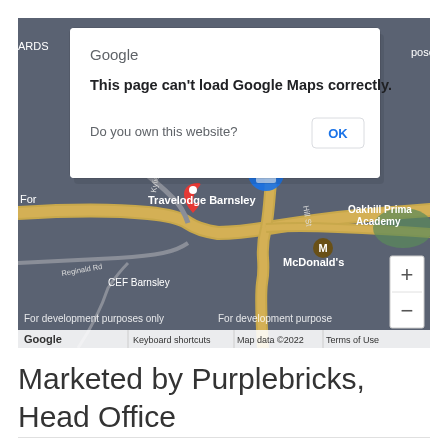[Figure (screenshot): Google Maps screenshot showing Barnsley area with an error dialog: 'This page can't load Google Maps correctly.' with an OK button. Map shows Travelodge Barnsley, McDonald's, CEF Barnsley, Oakhill Prima Academy, and zoom controls. Bottom bar shows 'For development purposes only', Google logo, Keyboard shortcuts, Map data ©2022, Terms of Use.]
Marketed by Purplebricks, Head Office